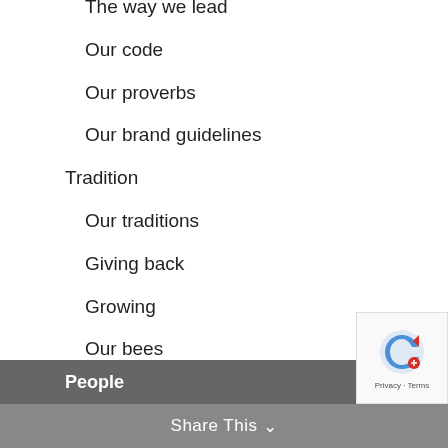The way we lead
Our code
Our proverbs
Our brand guidelines
Tradition
Our traditions
Giving back
Growing
Our bees
Recognition
Our Facebook feed
Celebrations
Families and socialising
People
Our tribe
Share This